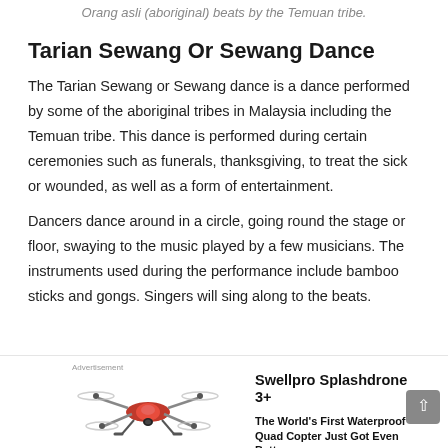Orang asli (aboriginal) beats by the Temuan tribe.
Tarian Sewang Or Sewang Dance
The Tarian Sewang or Sewang dance is a dance performed by some of the aboriginal tribes in Malaysia including the Temuan tribe. This dance is performed during certain ceremonies such as funerals, thanksgiving, to treat the sick or wounded, as well as a form of entertainment.
Dancers dance around in a circle, going round the stage or floor, swaying to the music played by a few musicians. The instruments used during the performance include bamboo sticks and gongs. Singers will sing along to the beats.
[Figure (photo): Advertisement showing a drone (Swellpro Splashdrone 3+) with text 'The World's First Waterproof Quad Copter Just Got Even Better']